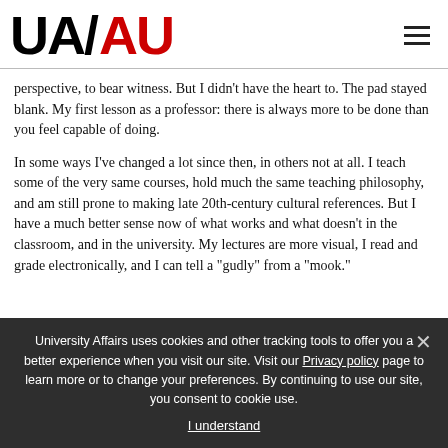UA/AU logo and navigation
perspective, to bear witness. But I didn’t have the heart to. The pad stayed blank. My first lesson as a professor: there is always more to be done than you feel capable of doing.
In some ways I’ve changed a lot since then, in others not at all. I teach some of the very same courses, hold much the same teaching philosophy, and am still prone to making late 20th-century cultural references. But I have a much better sense now of what works and what doesn’t in the classroom, and in the university. My lectures are more visual, I read and grade electronically, and I can tell a “gudly” from a “mook.”
University Affairs uses cookies and other tracking tools to offer you a better experience when you visit our site. Visit our Privacy policy page to learn more or to change your preferences. By continuing to use our site, you consent to cookie use.
I understand